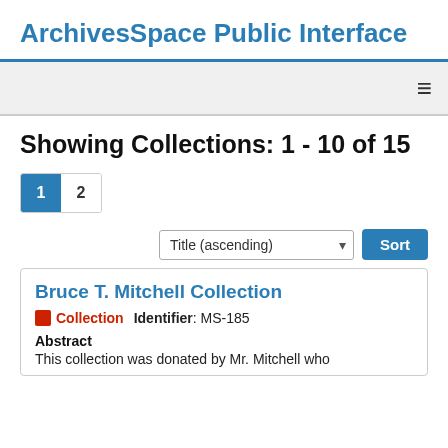ArchivesSpace Public Interface
Showing Collections: 1 - 10 of 15
Pagination: 1 2
Sort: Title (ascending)
Bruce T. Mitchell Collection
Collection  Identifier: MS-185
Abstract
This collection was donated by Mr. Mitchell who